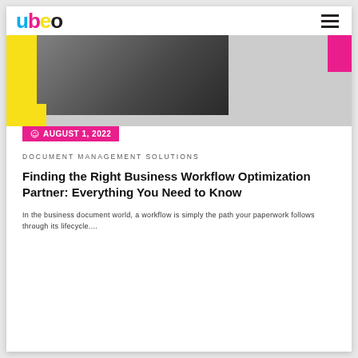[Figure (logo): ubeo logo with colored letters: u=cyan, b=pink, e=yellow, o=black]
[Figure (photo): Hero image showing a person working with documents at a desk, with yellow accent bar on left and magenta square top right]
AUGUST 1, 2022
DOCUMENT MANAGEMENT SOLUTIONS
Finding the Right Business Workflow Optimization Partner: Everything You Need to Know
In the business document world, a workflow is simply the path your paperwork follows through its lifecycle....